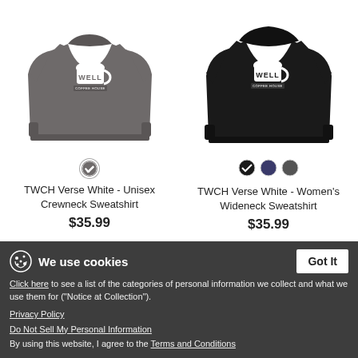[Figure (photo): Gray unisex crewneck sweatshirt with TWCH Well Coffee House logo in white]
TWCH Verse White - Unisex Crewneck Sweatshirt
$35.99
[Figure (photo): Black women's wideneck sweatshirt with TWCH Well Coffee House logo in white]
TWCH Verse White - Women's Wideneck Sweatshirt
$35.99
We use cookies
Click here to see a list of the categories of personal information we collect and what we use them for ("Notice at Collection").
Privacy Policy
Do Not Sell My Personal Information
By using this website, I agree to the Terms and Conditions